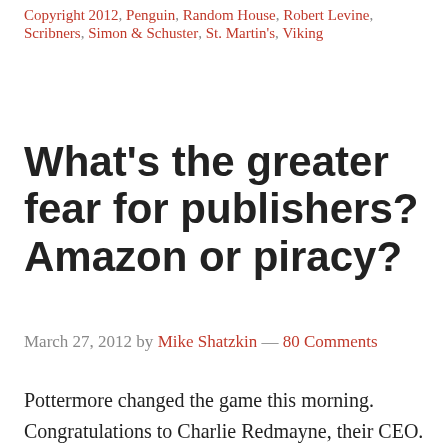Copyright 2012, Penguin, Random House, Robert Levine, Scribners, Simon & Schuster, St. Martin's, Viking
What's the greater fear for publishers? Amazon or piracy?
March 27, 2012 by Mike Shatzkin — 80 Comments
Pottermore changed the game this morning. Congratulations to Charlie Redmayne, their CEO. The “aha” moment for me was when somebody on a listserv mentioned they’d bought Kindle editions of the seven Harry Potter books which, it had been announced,